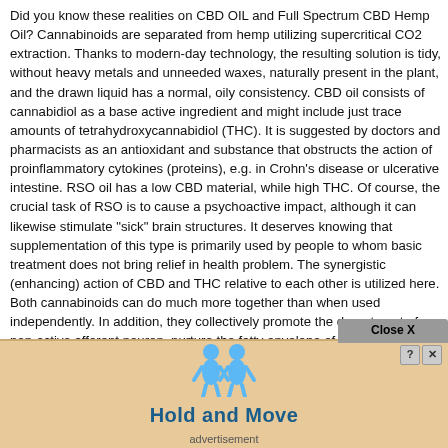Did you know these realities on CBD OIL and Full Spectrum CBD Hemp Oil? Cannabinoids are separated from hemp utilizing supercritical CO2 extraction. Thanks to modern-day technology, the resulting solution is tidy, without heavy metals and unneeded waxes, naturally present in the plant, and the drawn liquid has a normal, oily consistency. CBD oil consists of cannabidiol as a base active ingredient and might include just trace amounts of tetrahydroxycannabidiol (THC). It is suggested by doctors and pharmacists as an antioxidant and substance that obstructs the action of proinflammatory cytokines (proteins), e.g. in Crohn's disease or ulcerative intestine. RSO oil has a low CBD material, while high THC. Of course, the crucial task of RSO is to cause a psychoactive impact, although it can likewise stimulate "sick" brain structures. It deserves knowing that supplementation of this type is primarily used by people to whom basic treatment does not bring relief in health problem. The synergistic (enhancing) action of CBD and THC relative to each other is utilized here. Both cannabinoids can do much more together than when used independently. In addition, they collectively promote the department of non-active afferent neuron, nurture the fatty envelope of the nerves, and prevent myelin swelling that causes loss of function in some autoimmune illness. There are likewise stories where cannabis in its natural type softened spasticity, minimized the frequency of seizures and convulsions, and suppressed unpleasant scrapie in Parkinson's illness. This is where the concept of getting RSO, planned only for chronically ill people, come from . Both cannabis oil type CBD and RSO also contain other cannabinoids, such as cannabichromene (CBC) and cannabigerol (CBG). The secret is not, however, that CBD frequently has a structure expanded to include flavones, flavonoids, terpenes, terpenoids, amino acids and omega acids. The dis primarily due to intentions directing humankind to utilize one or the other product. CBD medical c ed to safeguard substances together. ces. Oil of
[Figure (screenshot): A popup overlay with a 'Close X' button bar at the top right and an advertisement box at the bottom showing two blue cartoon figures and the text 'Hold and Move' in bold blue letters, with a question mark and X control buttons in the top right of the ad box.]